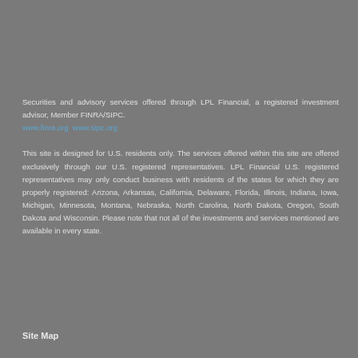Securities and advisory services offered through LPL Financial, a registered investment advisor, Member FINRA/SIPC. www.finra.org  www.sipc.org
This site is designed for U.S. residents only. The services offered within this site are offered exclusively through our U.S. registered representatives. LPL Financial U.S. registered representatives may only conduct business with residents of the states for which they are properly registered: Arizona, Arkansas, California, Delaware, Florida, Illinois, Indiana, Iowa, Michigan, Minnesota, Montana, Nebraska, North Carolina, North Dakota, Oregon, South Dakota and Wisconsin. Please note that not all of the investments and services mentioned are available in every state.
Site Map